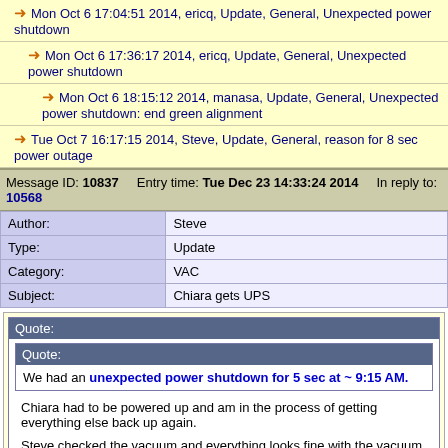→ Mon Oct 6 17:04:51 2014, ericq, Update, General, Unexpected power shutdown
→ Mon Oct 6 17:36:17 2014, ericq, Update, General, Unexpected power shutdown
→ Mon Oct 6 18:15:12 2014, manasa, Update, General, Unexpected power shutdown: end green alignment
→ Tue Oct 7 16:17:15 2014, Steve, Update, General, reason for 8 sec power outage
Message ID: 10837   Entry time: Tue Dec 23 14:33:24 2014   In reply to: 10568
| Field | Value |
| --- | --- |
| Author: | Steve |
| Type: | Update |
| Category: | VAC |
| Subject: | Chiara gets UPS |
Quote: Quote: We had an unexpected power shutdown for 5 sec at ~ 9:15 AM. Chiara had to be powered up and am in the process of getting everything else back up again. Steve checked the vacuum and everything looks fine with the vacuum